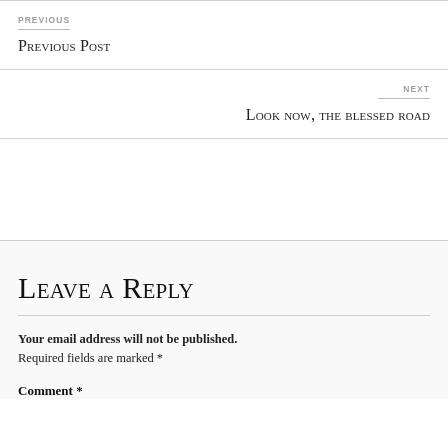PREVIOUS
Previous Post
NEXT
Look now, the blessed road
Leave a Reply
Your email address will not be published. Required fields are marked *
Comment *